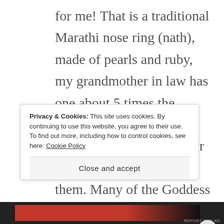for me! That is a traditional Marathi nose ring (nath), made of pearls and ruby, my grandmother in law has one about 5 times the size!!! Many people from the West find them ugly or weird looking, but I like them. Many of the Goddess idols in Nagpur wear one. Here is a photo a larger one...
Privacy & Cookies: This site uses cookies. By continuing to use this website, you agree to their use.
To find out more, including how to control cookies, see here: Cookie Policy
Close and accept